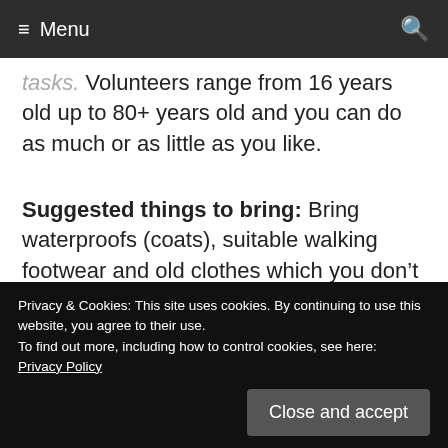≡ Menu  🔍
tasks.  Volunteers range from 16 years old up to 80+ years old and you can do as much or as little as you like.
Suggested things to bring: Bring waterproofs (coats), suitable walking footwear and old clothes which you don't mind getting mucky in! Tea, coffee (and usually cake!) is provided.
Privacy & Cookies: This site uses cookies. By continuing to use this website, you agree to their use.
To find out more, including how to control cookies, see here:
Privacy Policy
Close and accept
here, please visit www.dunston.co.uk Free